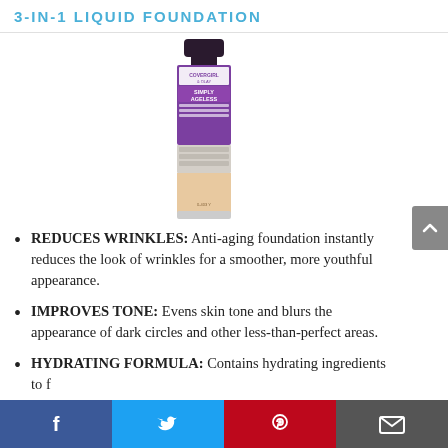3-IN-1 LIQUID FOUNDATION
[Figure (photo): CoverGirl & Olay Simply Ageless 3-in-1 Liquid Foundation bottle product photo]
REDUCES WRINKLES: Anti-aging foundation instantly reduces the look of wrinkles for a smoother, more youthful appearance.
IMPROVES TONE: Evens skin tone and blurs the appearance of dark circles and other less-than-perfect areas.
HYDRATING FORMULA: Contains hydrating ingredients to...